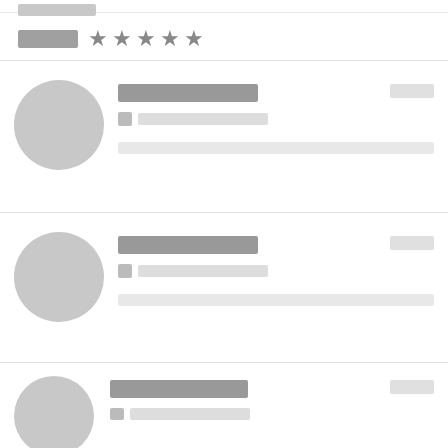[Figure (screenshot): UI mockup placeholder showing a review/rating interface with star rating at top and three review items below, each with a circular avatar placeholder, name bar, star row, date placeholder, and a text bar. All content is shown as gray placeholder blocks on a white background.]